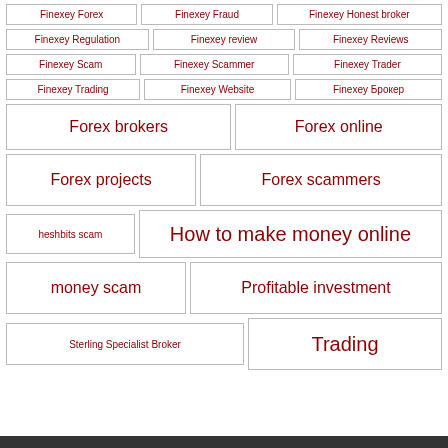Finexey Forex
Finexey Fraud
Finexey Honest broker
Finexey Regulation
Finexey review
Finexey Reviews
Finexey Scam
Finexey Scammer
Finexey Trader
Finexey Trading
Finexey Website
Finexey Брокер
Forex brokers
Forex online
Forex projects
Forex scammers
heshbits scam
How to make money online
money scam
Profitable investment
Sterling Specialist Broker
Trading